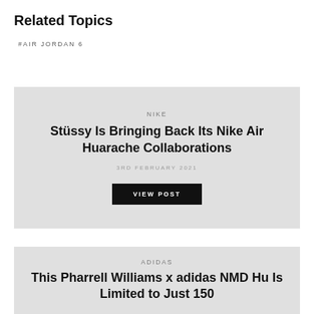Related Topics
#AIR JORDAN 6
[Figure (other): Article card with grey background for Nike article titled 'Stüssy Is Bringing Back Its Nike Air Huarache Collaborations', dated 3rd February 2021, with a VIEW POST button]
[Figure (other): Article card with grey background for Adidas article titled 'This Pharrell Williams x adidas NMD Hu Is Limited to Just 150...' (truncated)]